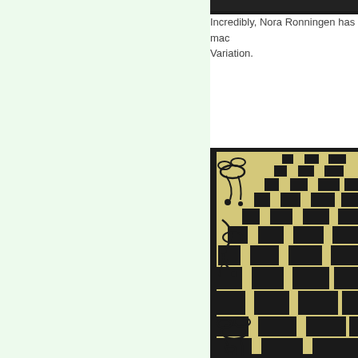[Figure (photo): Top partial strip of a dark-framed artwork at the very top right of the page]
Incredibly, Nora Ronningen has mad... Variation.
[Figure (photo): A wooden artwork with decorative floral/scroll border designs in black on a light wood background surrounding a warped/distorted checkerboard optical illusion pattern in black and cream]